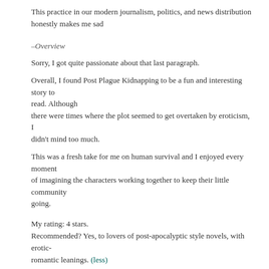This practice in our modern journalism, politics, and news distribution honestly makes me sad
–Overview
Sorry, I got quite passionate about that last paragraph.
Overall, I found Post Plague Kidnapping to be a fun and interesting story to read. Although there were times where the plot seemed to get overtaken by eroticism, I didn't mind too much.
This was a fresh take for me on human survival and I enjoyed every moment of imagining the characters working together to keep their little community going.
My rating: 4 stars.
Recommended? Yes, to lovers of post-apocalyptic style novels, with erotic-romantic leanings. (less)
[Figure (illustration): Avatar image for reviewer Sammy- Just Let Me Read, showing a dark book cover with hearts]
Sammy- Just Let Me Read rated it ★★★★★  Aug 30, 2019
Wow did I love this story. It was rec'd in a FB group and I'm so glad I took a chance on it. The writing was good the storyline was super engaging and I